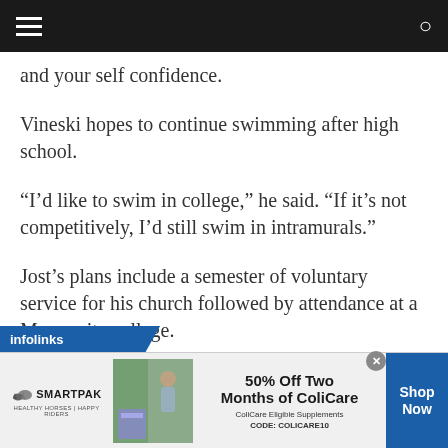[navigation bar with hamburger menu and search icon]
and your self confidence.
Vineski hopes to continue swimming after high school.
“I’d like to swim in college,” he said. “If it’s not competitively, I’d still swim in intramurals.”
Jost’s plans include a semester of voluntary service for his church followed by attendance at a Mennonite college.
[Figure (screenshot): infolinks advertisement banner with SmartPak horse supplement promotion: 50% Off Two Months of ColiCare, ColiCare Eligible Supplements, CODE: COLICARE10, with Shop Now button]